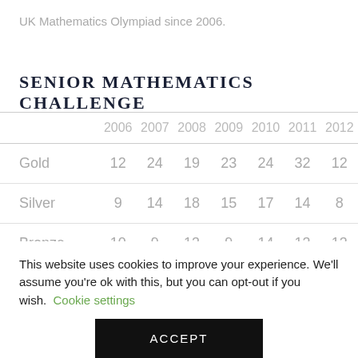UK Mathematics Olympiad since 2006.
SENIOR MATHEMATICS CHALLENGE
|  | 2006 | 2007 | 2008 | 2009 | 2010 | 2011 | 2012 |
| --- | --- | --- | --- | --- | --- | --- | --- |
| Gold | 12 | 24 | 19 | 23 | 24 | 32 | 12 |
| Silver | 9 | 14 | 18 | 15 | 17 | 14 | 8 |
| Bronze | 10 | 9 | 13 | 9 | 14 | 13 | 13 |
This website uses cookies to improve your experience. We'll assume you're ok with this, but you can opt-out if you wish.
Cookie settings
ACCEPT